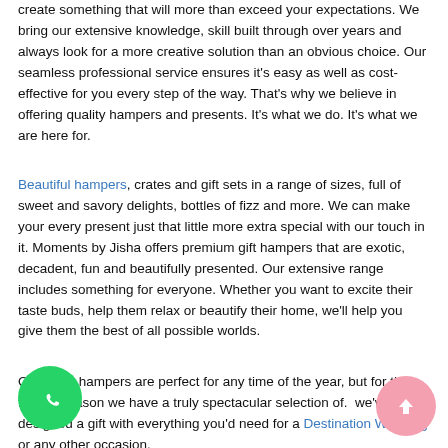create something that will more than exceed your expectations. We bring our extensive knowledge, skill built through over years and always look for a more creative solution than an obvious choice. Our seamless professional service ensures it's easy as well as cost-effective for you every step of the way. That's why we believe in offering quality hampers and presents. It's what we do. It's what we are here for.
Beautiful hampers, crates and gift sets in a range of sizes, full of sweet and savory delights, bottles of fizz and more. We can make your every present just that little more extra special with our touch in it. Moments by Jisha offers premium gift hampers that are exotic, decadent, fun and beautifully presented. Our extensive range includes something for everyone. Whether you want to excite their taste buds, help them relax or beautify their home, we'll help you give them the best of all possible worlds.
Our room hampers are perfect for any time of the year, but for the festive season we have a truly spectacular selection of. we've even designed a gift with everything you'd need for a Destination Wedding or any other occasion.